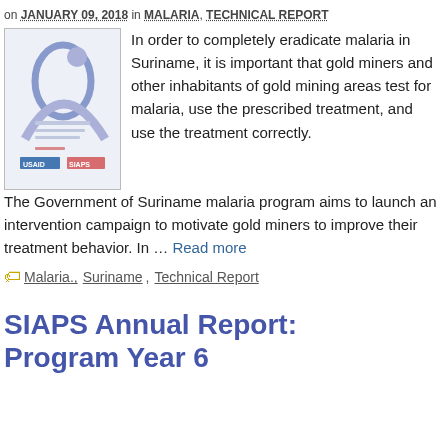on JANUARY 09, 2018 in MALARIA, TECHNICAL REPORT
[Figure (illustration): Cover page thumbnail of a research protocol document with USAID and SIAPS logos and a stylized figure graphic in blue/purple tones]
In order to completely eradicate malaria in Suriname, it is important that gold miners and other inhabitants of gold mining areas test for malaria, use the prescribed treatment, and use the treatment correctly. The Government of Suriname malaria program aims to launch an intervention campaign to motivate gold miners to improve their treatment behavior. In … Read more
Malaria., Suriname, Technical Report
SIAPS Annual Report: Program Year 6